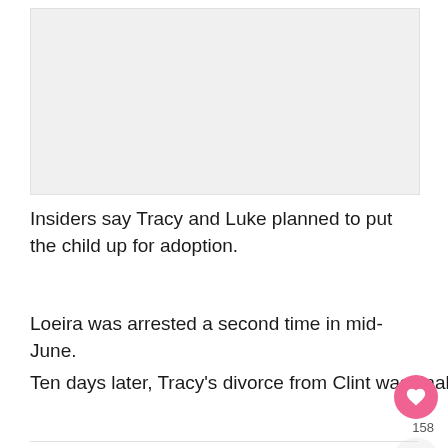[Figure (other): Image placeholder / photo area (light gray rectangle)]
Insiders say Tracy and Luke planned to put the child up for adoption.
Loeira was arrested a second time in mid-June.
Ten days later, Tracy's divorce from Clint was finalized, and ten days after that, she welcomed Luke's child.